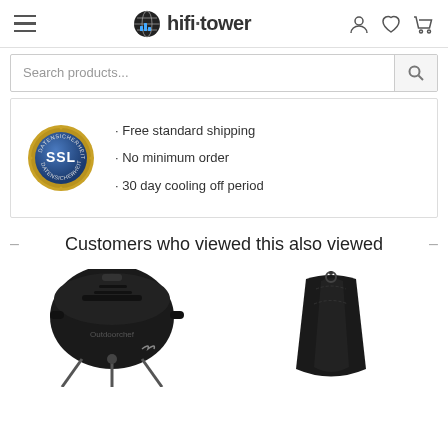hifi-tower
Search products...
[Figure (infographic): SSL badge with bullet points: Free standard shipping, No minimum order, 30 day cooling off period]
Customers who viewed this also viewed
[Figure (photo): Product thumbnail: black cast iron dutch oven / BBQ smoker]
[Figure (photo): Product thumbnail: black carry bag / storage case]